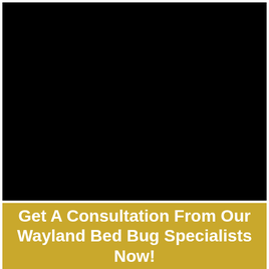[Figure (photo): Black rectangle representing a photo or video placeholder]
Get A Consultation From Our Wayland Bed Bug Specialists Now!